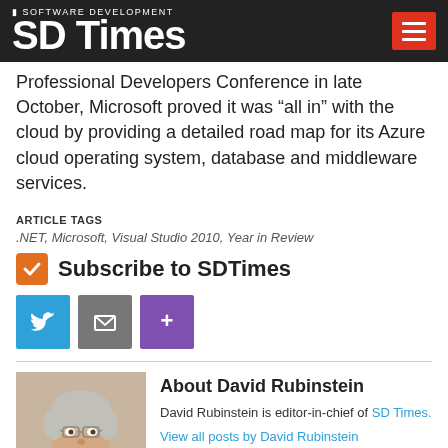SD Times — Software Development
Professional Developers Conference in late October, Microsoft proved it was “all in” with the cloud by providing a detailed road map for its Azure cloud operating system, database and middleware services.
ARTICLE TAGS
.NET, Microsoft, Visual Studio 2010, Year in Review
Subscribe to SDTimes
[Figure (infographic): Social sharing buttons: Twitter (blue), Email (grey), More (purple)]
[Figure (photo): Headshot of David Rubinstein, editor-in-chief of SD Times. Middle-aged man with grey hair and glasses.]
About David Rubinstein
David Rubinstein is editor-in-chief of SD Times.
View all posts by David Rubinstein